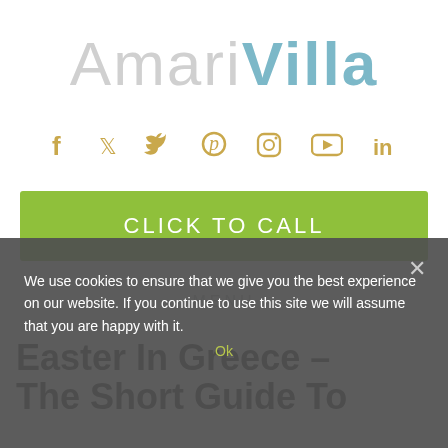[Figure (logo): AmariVilla logo with 'Amari' in light gray and 'Villa' in blue-gray bold text]
[Figure (infographic): Social media icons row: Facebook, Twitter, Pinterest, Instagram, YouTube, LinkedIn — all in golden/olive color]
CLICK TO CALL
MENU
We use cookies to ensure that we give you the best experience on our website. If you continue to use this site we will assume that you are happy with it.
Ok
Easter In Greece – The Short Guide To